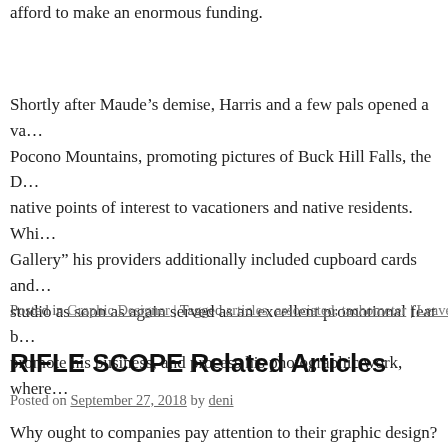afford to make an enormous funding.
Shortly after Maude’s demise, Harris and a few pals opened a va… Pocono Mountains, promoting pictures of Buck Hill Falls, the D… native points of interest to vacationers and native residents. Whi… Gallery” his providers additionally included cupboard cards and… studio as soon as again served as an excellent promotional feat b… promote his business, and process his photographic work, where…
Posted in Graphic Designer | Tagged articles, associated, tachometer | Leave…
RIFLE SCOPE Related Articles
Posted on September 27, 2018 by deni
Why ought to companies pay attention to their graphic design? A… person interacts with – like keyboard, mouse and screen. Nonet… design, UI design’s focus is on a consumer’s visible expertise a… components, similar to buttons, menus and micro-interactions, a… designer to create a stability between aesthetics and technical f…